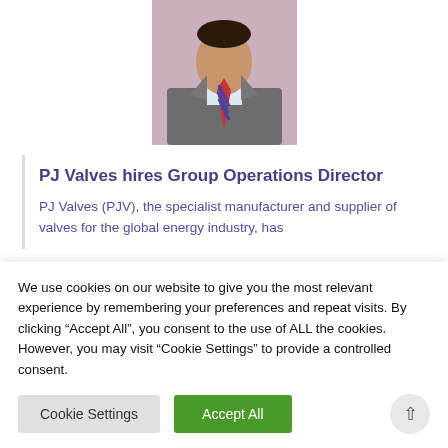[Figure (photo): Portrait photo of a man in a grey suit with a striped red/blue tie, pink background]
PJ Valves hires Group Operations Director
PJ Valves (PJV), the specialist manufacturer and supplier of valves for the global energy industry, has
We use cookies on our website to give you the most relevant experience by remembering your preferences and repeat visits. By clicking “Accept All”, you consent to the use of ALL the cookies. However, you may visit "Cookie Settings" to provide a controlled consent.